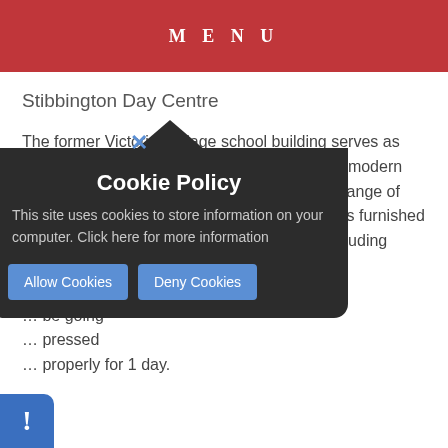MENU
Stibbington Day Centre
The former Victorian village school building serves as Stibbington's Day Centre.  It contains a large "modern classroom" which provides a base for a wide range of environmental courses.  A smaller classroom is furnished and equipped for other Victorian activities, including World War 2 evacuation ... be going ... pressed ... properly for 1 day.
[Figure (screenshot): Cookie Policy popup overlay with dark background, showing title 'Cookie Policy', body text 'This site uses cookies to store information on your computer. Click here for more information', and two buttons: 'Allow Cookies' and 'Deny Cookies'. A blue X close button appears at the top. A blue info badge with exclamation mark is at the bottom left.]